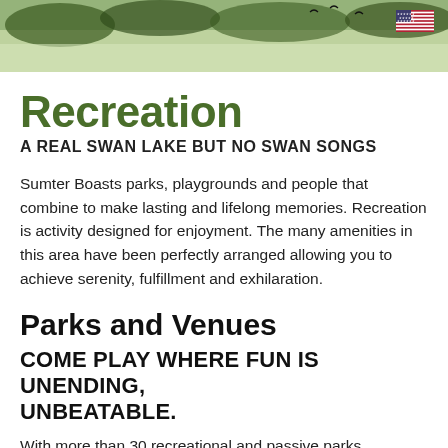[Figure (photo): Header photo of a lake scene with trees and birds, with a US flag icon in the top-right corner]
Recreation
A REAL SWAN LAKE BUT NO SWAN SONGS
Sumter Boasts parks, playgrounds and people that combine to make lasting and lifelong memories. Recreation is activity designed for enjoyment. The many amenities in this area have been perfectly arranged allowing you to achieve serenity, fulfillment and exhilaration.
Parks and Venues
COME PLAY WHERE FUN IS UNENDING, UNBEATABLE.
With more than 30 recreational and passive parks, Sumter County offers a wide range of both outdoor